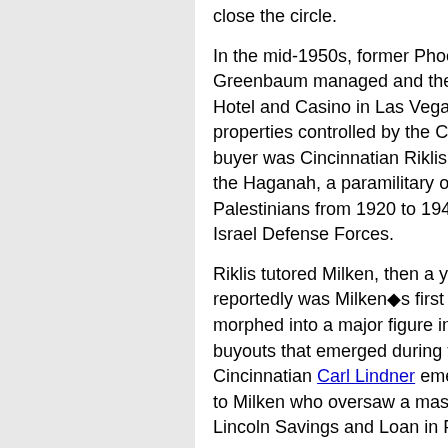close the circle. In the mid-1950s, former Phoenix mobster Gus Greenbaum managed and then sold the Riviera Hotel and Casino in Las Vegas, one of the premier properties controlled by the Chicago Outfit. The buyer was Cincinnatian Riklis, a former member of the Haganah, a paramilitary outfit active in terrorizing Palestinians from 1920 to 1948 when it became the Israel Defense Forces.
Riklis tutored Milken, then a young bond broker, and reportedly was Milken's first customer as Milken morphed into a major figure in the boom of leveraged buyouts that emerged during the Reagan era. Fellow Cincinnatian Carl Lindner emerged as a father figure to Milken who oversaw a massive «control fraud» at Lincoln Savings and Loan in Phoenix, Arizona.
The face on this fraud was Charles Keating who previously served as general counsel to the Linder-controlled, Cincinnati-based American Financial Group.